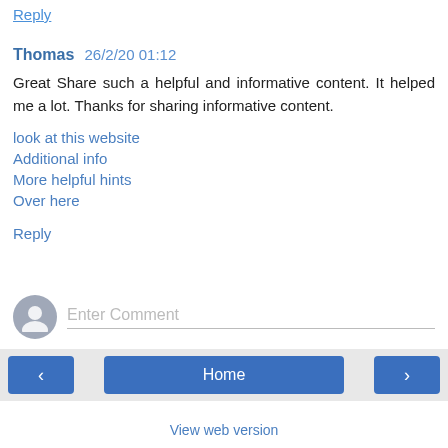Reply
Thomas  26/2/20 01:12
Great Share such a helpful and informative content. It helped me a lot. Thanks for sharing informative content.
look at this website
Additional info
More helpful hints
Over here
Reply
Enter Comment
< Home > View web version